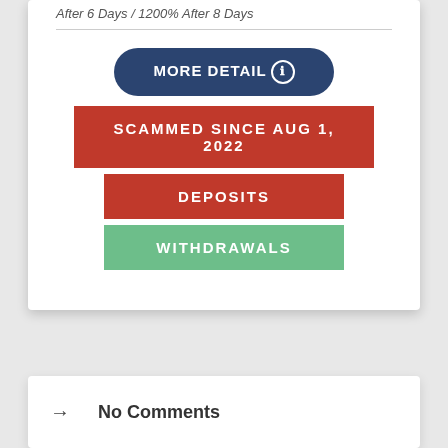After 6 Days / 1200% After 8 Days
MORE DETAIL
SCAMMED SINCE AUG 1, 2022
DEPOSITS
WITHDRAWALS
No Comments